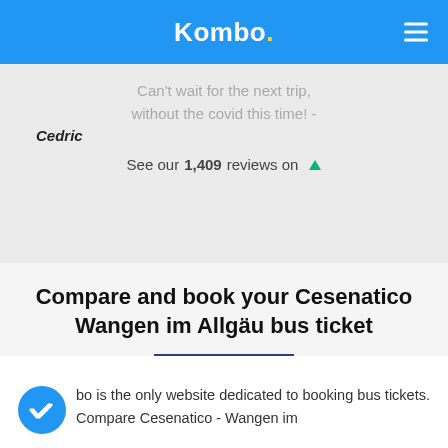Kombo.
Can't wait for the next trip, without the covid this time! - Cedric
See our 1,409 reviews on
Compare and book your Cesenatico Wangen im Allgäu bus ticket
bo is the only website dedicated to booking bus tickets. Compare Cesenatico - Wangen im